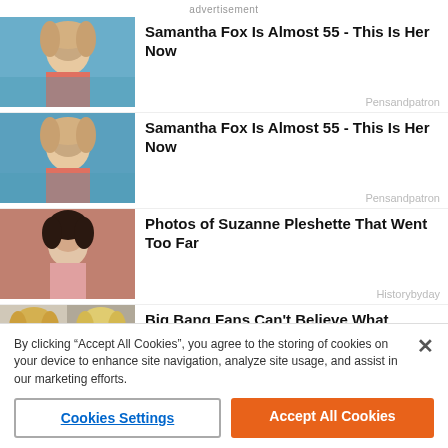advertisement
[Figure (photo): Thumbnail of blonde woman near pool]
Samantha Fox Is Almost 55 - This Is Her Now
Pensandpatron
[Figure (photo): Thumbnail of blonde woman near pool (second)]
Samantha Fox Is Almost 55 - This Is Her Now
Pensandpatron
[Figure (photo): Thumbnail of dark-haired woman on pink background]
Photos of Suzanne Pleshette That Went Too Far
Historybyday
[Figure (photo): Thumbnail of blonde woman with glasses on left and another blonde woman on right]
Big Bang Fans Can't Believe What Bernadette Looks Like In Real Life
Pensandpatron
By clicking “Accept All Cookies”, you agree to the storing of cookies on your device to enhance site navigation, analyze site usage, and assist in our marketing efforts.
Cookies Settings
Accept All Cookies